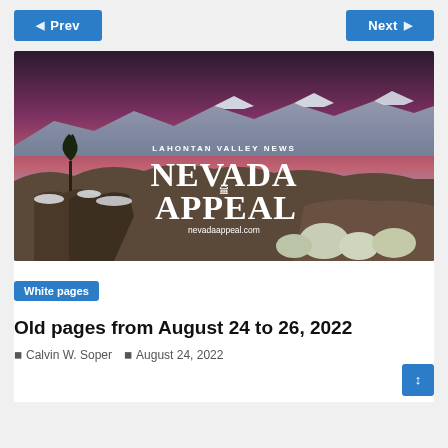◀ Prev   Next ▶
[Figure (photo): Nevada Appeal / Lahontan Valley News masthead hero image showing a winter mountain landscape at dusk with pink sky, snow on rocks and shrubs. Text overlay reads: LAHONTAN VALLEY NEWS, NEVADA APPEAL, nevadaappeal.com]
White pages
Old pages from August 24 to 26, 2022
Calvin W. Soper   August 24, 2022